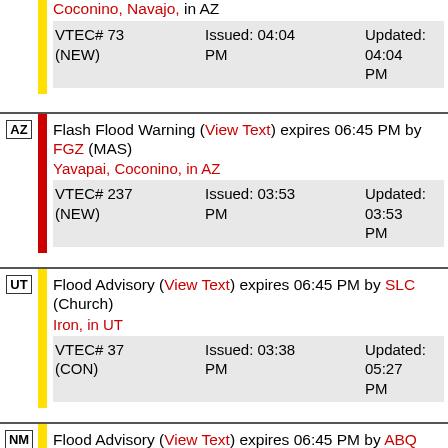Coconino, Navajo, in AZ
VTEC# 73 (NEW)   Issued: 04:04 PM   Updated: 04:04 PM
Flash Flood Warning (View Text) expires 06:45 PM by FGZ (MAS)
Yavapai, Coconino, in AZ
VTEC# 237 (NEW)   Issued: 03:53 PM   Updated: 03:53 PM
Flood Advisory (View Text) expires 06:45 PM by SLC (Church)
Iron, in UT
VTEC# 37 (CON)   Issued: 03:38 PM   Updated: 05:27 PM
Flood Advisory (View Text) expires 06:45 PM by ABQ (34)